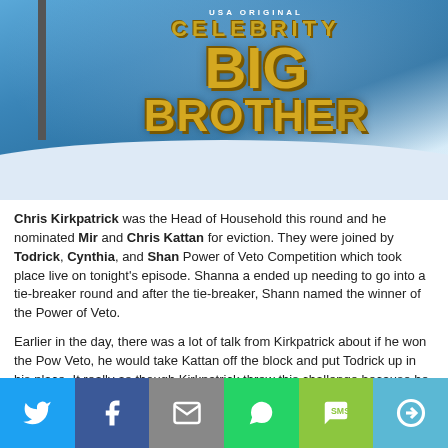[Figure (photo): Celebrity Big Brother USA original logo with golden 3D letters on a snowy blue background]
Chris Kirkpatrick was the Head of Household this round and he nominated Mir and Chris Kattan for eviction. They were joined by Todrick, Cynthia, and Shar Power of Veto Competition which took place live on tonight's episode. Shanna a ended up needing to go into a tie-breaker round and after the tie-breaker, Shann named the winner of the Power of Veto.
Earlier in the day, there was a lot of talk from Kirkpatrick about if he won the Pow Veto, he would take Kattan off the block and put Todrick up in his place. It really as though Kirkpatrick threw this challenge because he only got one point out of s questions. With Shanna winning the competition, she now had a choice to make chose to keep the nominations the same and Mirai and Kattan remained on the
After the POV Ceremony, the votes were cast. Here is how they landed:
[Figure (infographic): Social media share bar with Twitter, Facebook, Email, WhatsApp, SMS, and More buttons]